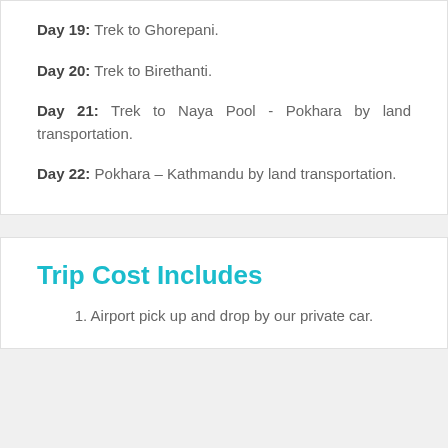Day 19: Trek to Ghorepani.
Day 20: Trek to Birethanti.
Day 21: Trek to Naya Pool - Pokhara by land transportation.
Day 22: Pokhara – Kathmandu by land transportation.
Trip Cost Includes
1. Airport pick up and drop by our private car.